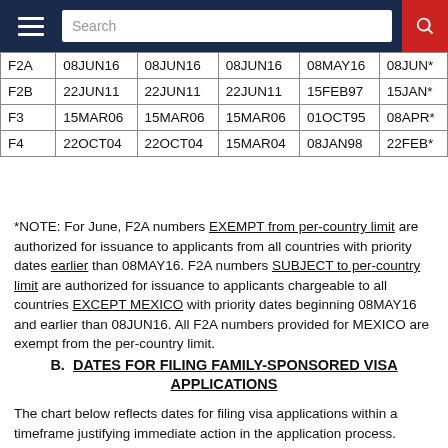Search
|  | All Chargeability Areas Except Those Listed | CHINA-mainland born | INDIA | MEXICO | PHILIPPINES |
| --- | --- | --- | --- | --- | --- |
| F2A | 08JUN16 | 08JUN16 | 08JUN16 | 08MAY16 | 08JUN* |
| F2B | 22JUN11 | 22JUN11 | 22JUN11 | 15FEB97 | 15JAN* |
| F3 | 15MAR06 | 15MAR06 | 15MAR06 | 01OCT95 | 08APR* |
| F4 | 22OCT04 | 22OCT04 | 15MAR04 | 08JAN98 | 22FEB* |
*NOTE: For June, F2A numbers EXEMPT from per-country limit are authorized for issuance to applicants from all countries with priority dates earlier than 08MAY16. F2A numbers SUBJECT to per-country limit are authorized for issuance to applicants chargeable to all countries EXCEPT MEXICO with priority dates beginning 08MAY16 and earlier than 08JUN16. All F2A numbers provided for MEXICO are exempt from the per-country limit.
B.  DATES FOR FILING FAMILY-SPONSORED VISA APPLICATIONS
The chart below reflects dates for filing visa applications within a timeframe justifying immediate action in the application process.